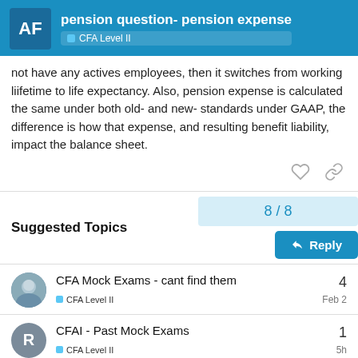pension question- pension expense — CFA Level II
not have any actives employees, then it switches from working liifetime to life expectancy. Also, pension expense is calculated the same under both old- and new- standards under GAAP, the difference is how that expense, and resulting benefit liability, impact the balance sheet.
8 / 8
Reply
Suggested Topics
CFA Mock Exams - cant find them
CFA Level II
4
Feb 2
CFAI - Past Mock Exams
CFA Level II
1
5h